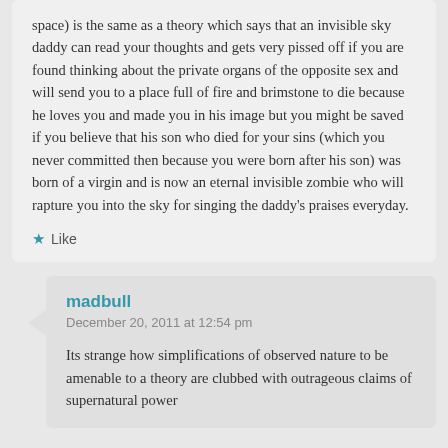space) is the same as a theory which says that an invisible sky daddy can read your thoughts and gets very pissed off if you are found thinking about the private organs of the opposite sex and will send you to a place full of fire and brimstone to die because he loves you and made you in his image but you might be saved if you believe that his son who died for your sins (which you never committed then because you were born after his son) was born of a virgin and is now an eternal invisible zombie who will rapture you into the sky for singing the daddy's praises everyday.
Like
madbull
December 20, 2011 at 12:54 pm
Its strange how simplifications of observed nature to be amenable to a theory are clubbed with outrageous claims of supernatural power